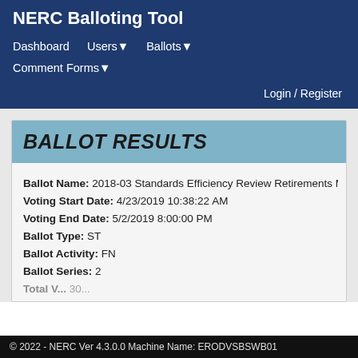NERC Balloting Tool
Dashboard  Users▾  Ballots▾  Comment Forms▾  Login / Register
BALLOT RESULTS
Ballot Name: 2018-03 Standards Efficiency Review Retirements MO
Voting Start Date: 4/23/2019 10:38:22 AM
Voting End Date: 5/2/2019 8:00:00 PM
Ballot Type: ST
Ballot Activity: FN
Ballot Series: 2
© 2022 - NERC Ver 4.3.0.0 Machine Name: ERODVSBSWB01